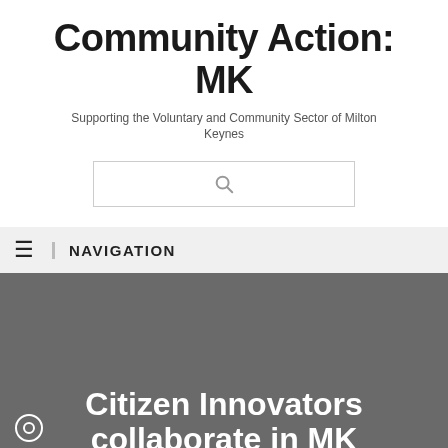Community Action: MK
Supporting the Voluntary and Community Sector of Milton Keynes
[Figure (other): Search bar with magnifying glass icon]
NAVIGATION
Citizen Innovators collaborate in MK